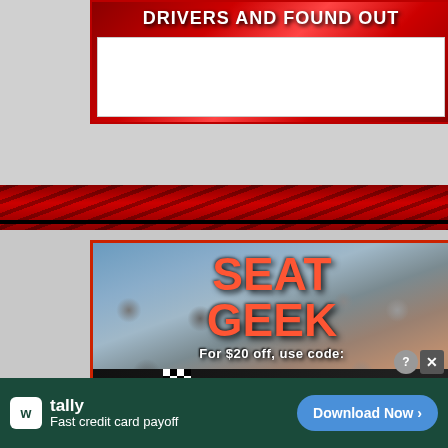[Figure (screenshot): Top portion of a webpage with red racing-themed banner partially visible at top]
[Figure (screenshot): SeatGeek advertisement banner showing crowd of fans with large orange SEAT GEEK text, promo text 'For $20 off, use code:' and FRONTSTRETCH code on black bar with checkered flag]
[Figure (advertisement): Tally app advertisement bar at bottom: dark green background with Tally logo, 'Fast credit card payoff' text, and 'Download Now' button in blue]